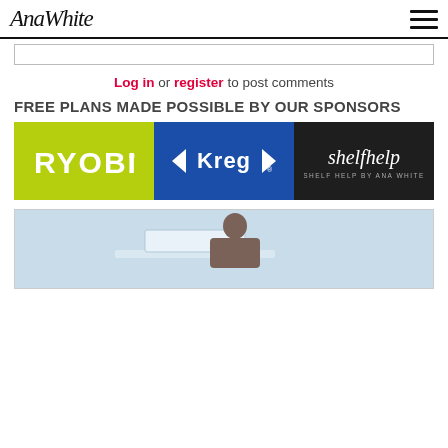AnaWhite
[comment text area]
Log in or register to post comments
FREE PLANS MADE POSSIBLE BY OUR SPONSORS
[Figure (logo): Sponsor banner showing three logos side by side: RYOBI (yellow-green background), Kreg (blue background), and shelfhelp / SHELF HELP BY ANA WHITE (dark background)]
[Figure (photo): Photo of a woman at a desk with a laptop, partially visible at bottom of page]